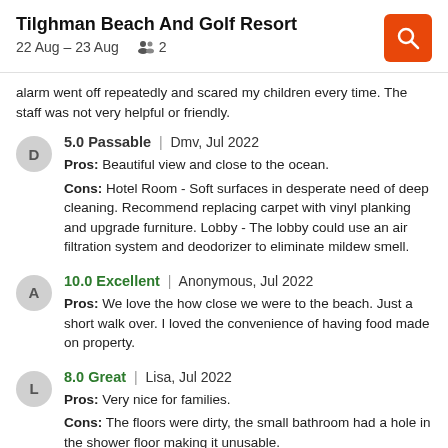Tilghman Beach And Golf Resort
22 Aug – 23 Aug  2
alarm went off repeatedly and scared my children every time. The staff was not very helpful or friendly.
5.0 Passable | Dmv, Jul 2022
Pros: Beautiful view and close to the ocean.
Cons: Hotel Room - Soft surfaces in desperate need of deep cleaning. Recommend replacing carpet with vinyl planking and upgrade furniture. Lobby - The lobby could use an air filtration system and deodorizer to eliminate mildew smell.
10.0 Excellent | Anonymous, Jul 2022
Pros: We love the how close we were to the beach. Just a short walk over. I loved the convenience of having food made on property.
8.0 Great | Lisa, Jul 2022
Pros: Very nice for families.
Cons: The floors were dirty, the small bathroom had a hole in the shower floor making it unusable.